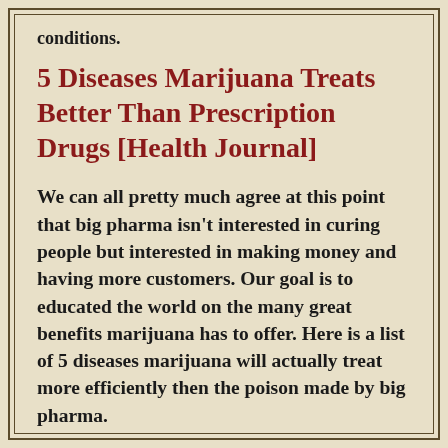conditions.
5 Diseases Marijuana Treats Better Than Prescription Drugs [Health Journal]
We can all pretty much agree at this point that big pharma isn't interested in curing people but interested in making money and having more customers. Our goal is to educated the world on the many great benefits marijuana has to offer. Here is a list of 5 diseases marijuana will actually treat more efficiently then the poison made by big pharma.